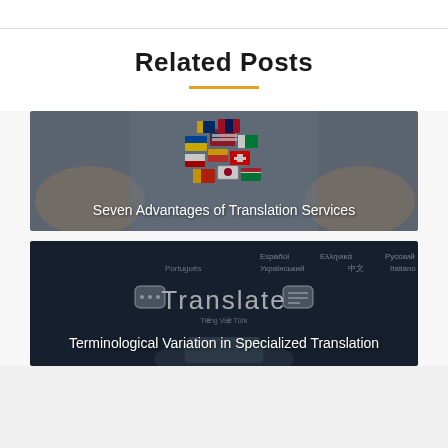Related Posts
[Figure (photo): Hands holding colorful country flags in a globe-like arrangement, representing translation services]
Seven Advantages of Translation Services
[Figure (photo): Dark background with multilingual text (Español, Русский, Português, Український, 中文, Italiano, Polskie) and 'Translate' in large letters with chat bubbles, hand holding a smartphone]
Terminological Variation in Specialized Translation